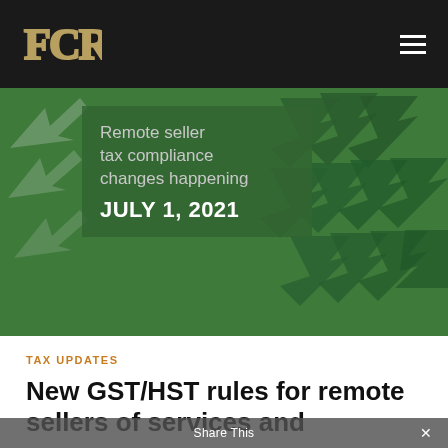[Figure (logo): FCR logo in gold/tan on black navigation bar, with hamburger menu icon on the right]
[Figure (illustration): Green banner image showing multiple arrow icons pointing upper-right on a green background, with text overlay box reading 'Remote seller tax compliance changes happening JULY 1, 2021']
TAX UPDATES
New GST/HST rules for remote sellers of services and
Share This  ×